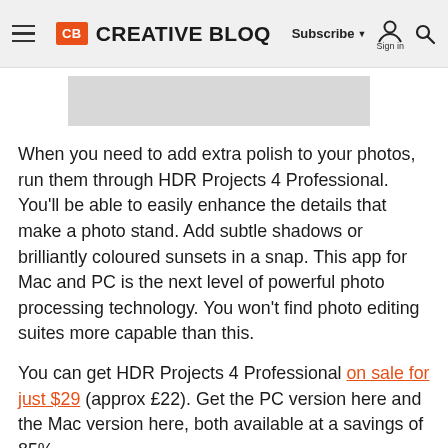Creative Bloq — Subscribe | Sign in | Search
[Figure (screenshot): Partial image placeholder visible at top of article content area, gray rectangle]
When you need to add extra polish to your photos, run them through HDR Projects 4 Professional. You'll be able to easily enhance the details that make a photo stand. Add subtle shadows or brilliantly coloured sunsets in a snap. This app for Mac and PC is the next level of powerful photo processing technology. You won't find photo editing suites more capable than this.
You can get HDR Projects 4 Professional on sale for just $29 (approx £22). Get the PC version here and the Mac version here, both available at a savings of 85%